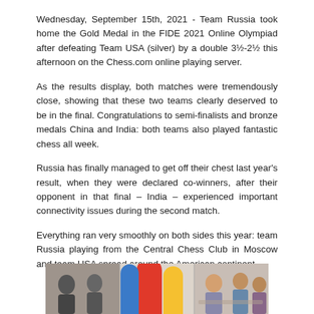Wednesday, September 15th, 2021 - Team Russia took home the Gold Medal in the FIDE 2021 Online Olympiad after defeating Team USA (silver) by a double 3½-2½ this afternoon on the Chess.com online playing server.
As the results display, both matches were tremendously close, showing that these two teams clearly deserved to be in the final. Congratulations to semi-finalists and bronze medals China and India: both teams also played fantastic chess all week.
Russia has finally managed to get off their chest last year's result, when they were declared co-winners, after their opponent in that final – India – experienced important connectivity issues during the second match.
Everything ran very smoothly on both sides this year: team Russia playing from the Central Chess Club in Moscow and team USA spread around the American continent.
[Figure (photo): A photograph showing people at what appears to be a chess event venue, with colorful sculptural forms visible in the background.]